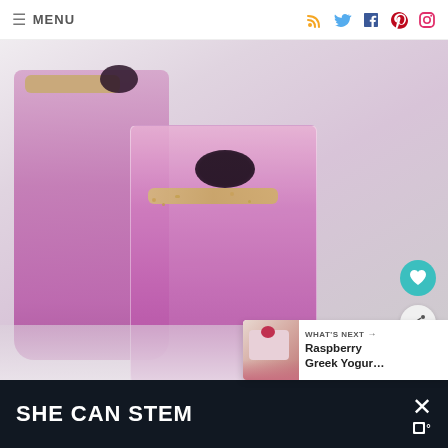≡ MENU
[Figure (photo): Two glasses of pink-purple smoothie topped with blackberries and golden crumble, on a light background]
WHAT'S NEXT → Raspberry Greek Yogur…
SHE CAN STEM